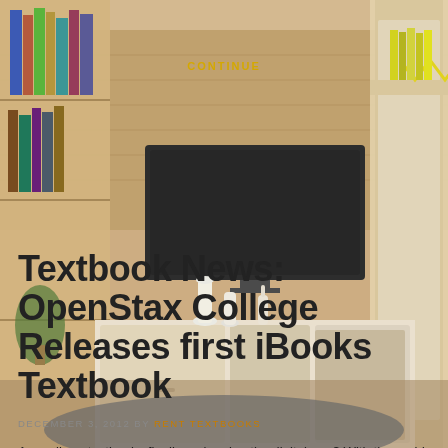[Figure (photo): Interior room photo showing a modern living room with a TV unit, bookshelves, a TV on the wall, white vases, and a dark rug]
CONTINUE
Textbook News: OpenStax College Releases first iBooks Textbook
DECEMBER 3, 2012 BY RENT TEXTBOOKS
Are college textbooks finally embracing the digital age? With the rapid growth rate of E-Readers and Digital Devices, the release of the first iBooks Textbook could be a revolutionary development happening in the textbook area. iBooks is an element of iBooks before it is Apple's e-book reader available for free from the Apple App Store for all iPhones, iPods and iPads. Did you know that you can